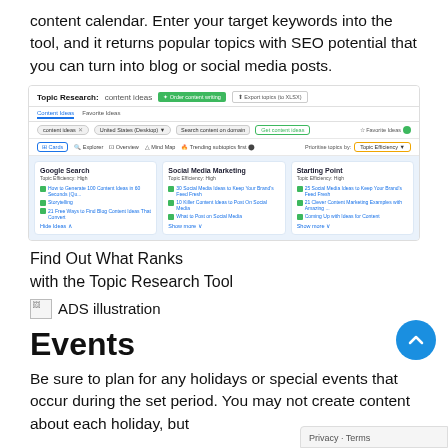content calendar. Enter your target keywords into the tool, and it returns popular topics with SEO potential that you can turn into blog or social media posts.
[Figure (screenshot): Screenshot of Semrush Topic Research tool showing 'content ideas' with cards for Google Search, Social Media Marketing, and Starting Point, each labeled Topic Efficiency: High]
Find Out What Ranks
with the Topic Research Tool
[Figure (illustration): Broken image placeholder labeled ADS illustration]
Events
Be sure to plan for any holidays or special events that occur during the set period. You may not create content about each holiday, but